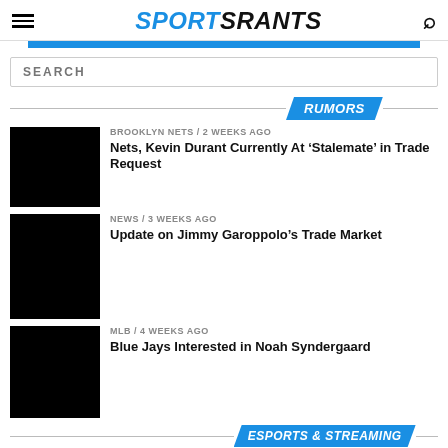SPORTSRANTS
SEARCH
RUMORS
BROOKLYN NETS / 2 weeks ago
Nets, Kevin Durant Currently At ‘Stalemate’ in Trade Request
NEWS / 3 weeks ago
Update on Jimmy Garoppolo’s Trade Market
MLB / 4 weeks ago
Blue Jays Interested in Noah Syndergaard
ESPORTS & STREAMING